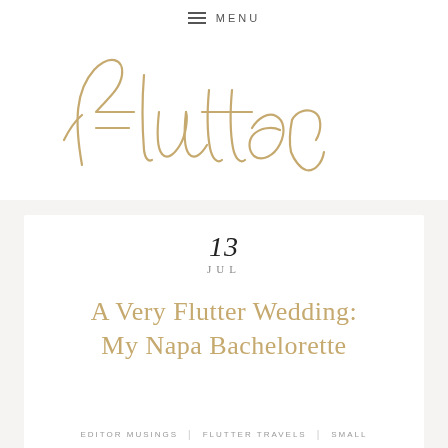≡ MENU
[Figure (logo): Flutter script logo in gold/tan cursive handwriting style]
13
JUL
A Very Flutter Wedding: My Napa Bachelorette
EDITOR MUSINGS  |  FLUTTER TRAVELS  |  SMALL